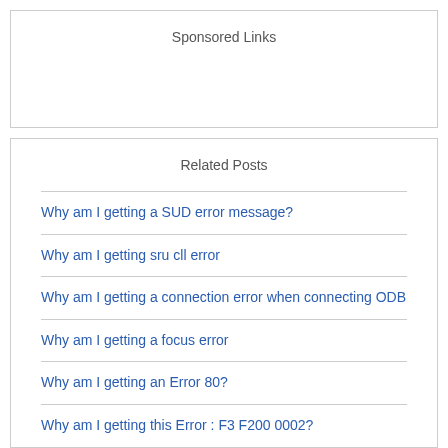Sponsored Links
Related Posts
Why am I getting a SUD error message?
Why am I getting sru cll error
Why am I getting a connection error when connecting ODB
Why am I getting a focus error
Why am I getting an Error 80?
Why am I getting this Error : F3 F200 0002?